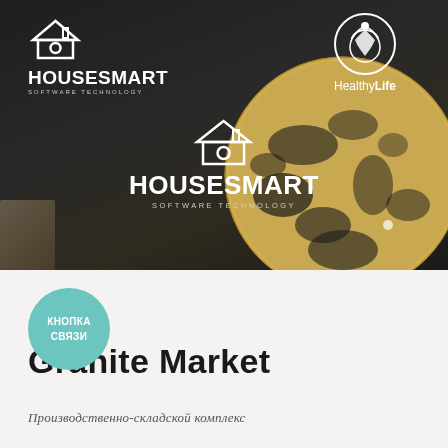[Figure (screenshot): Dark background web page screenshot showing multiple logos: HOUSESMART SOFTWARE TECHNOLOGY (top-left and center), HealthyLife (top-right), with a decorative globe and laptop in the background.]
[Figure (logo): Teal circle button with Cyrillic text КНОПКА СВЯЗИ]
Granite Market
Производственно-складской комплекс